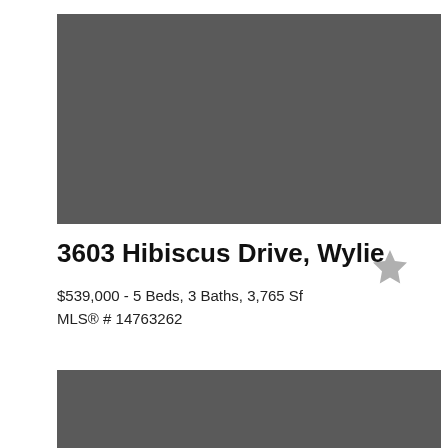[Figure (photo): Property photo placeholder — dark gray rectangle]
3603 Hibiscus Drive, Wylie
$539,000 - 5 Beds, 3 Baths, 3,765 Sf
MLS® # 14763262
[Figure (photo): Second property photo placeholder — dark gray rectangle]